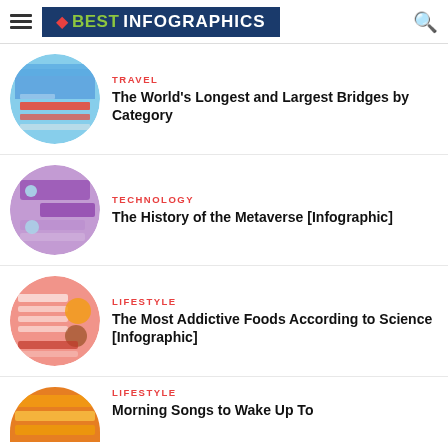BEST INFOGRAPHICS
TRAVEL
The World's Longest and Largest Bridges by Category
TECHNOLOGY
The History of the Metaverse [Infographic]
LIFESTYLE
The Most Addictive Foods According to Science [Infographic]
LIFESTYLE
Morning Songs to Wake Up To